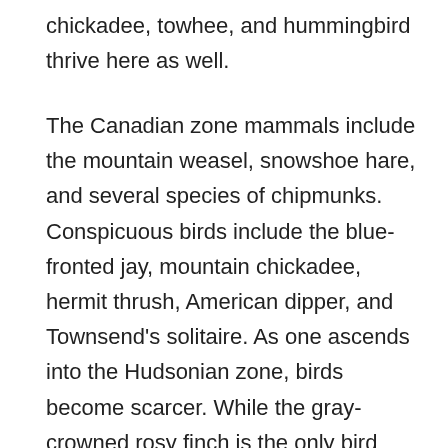chickadee, towhee, and hummingbird thrive here as well.
The Canadian zone mammals include the mountain weasel, snowshoe hare, and several species of chipmunks. Conspicuous birds include the blue-fronted jay, mountain chickadee, hermit thrush, American dipper, and Townsend's solitaire. As one ascends into the Hudsonian zone, birds become scarcer. While the gray-crowned rosy finch is the only bird native to the high Arctic region, other bird species such as Anna's hummingbird and Clark's nutcracker. Principal mammals found in this region include the Sierra coney, white-tailed jackrabbit, and the bighorn sheep. As of